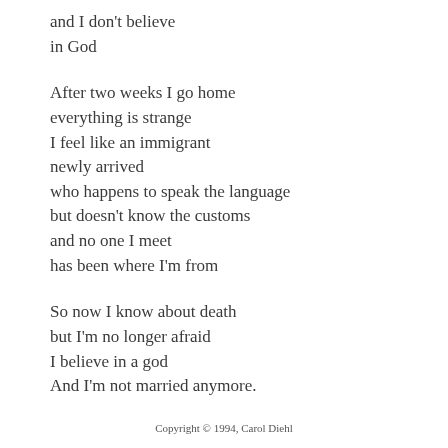and I don't believe
in God
After two weeks I go home
everything is strange
I feel like an immigrant
newly arrived
who happens to speak the language
but doesn't know the customs
and no one I meet
has been where I'm from
So now I know about death
but I'm no longer afraid
I believe in a god
And I'm not married anymore.
Copyright © 1994, Carol Diehl